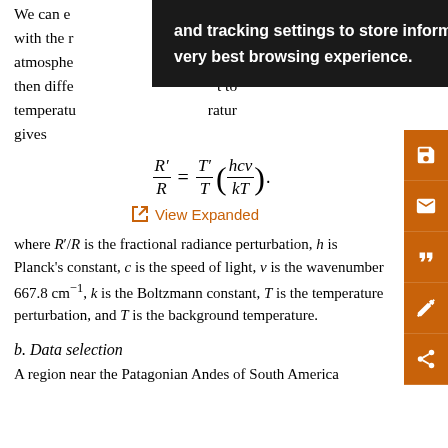We can express... with the r... atmosphe... then diffe... t to temperature... ratur gives
[Figure (screenshot): Dark popup overlay with white bold text reading: 'and tracking settings to store information that help give you the very best browsing experience.']
View Expanded
where R'/R is the fractional radiance perturbation, h is Planck's constant, c is the speed of light, v is the wavenumber 667.8 cm⁻¹, k is the Boltzmann constant, T is the temperature perturbation, and T is the background temperature.
b. Data selection
A region near the Patagonian Andes of South America